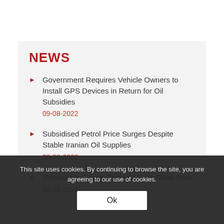NEWS
Government Requires Vehicle Owners to Install GPS Devices in Return for Oil Subsidies
09-08-2022
Subsidised Petrol Price Surges Despite Stable Iranian Oil Supplies
09-08-2022
Renewable Energy Projects Face Dead Ends
09-08-2022
This site uses cookies. By continuing to browse the site, you are agreeing to our use of cookies.